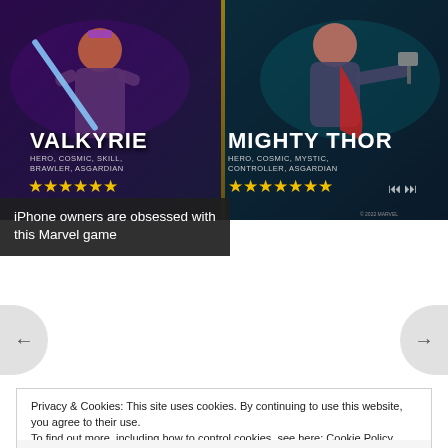[Figure (screenshot): Marvel game advertisement banner showing two characters: Valkyrie (Hero, Cosmic, Skill, Brawler, Asgardian) with star rating on the left, and Mighty Thor (Hero, Cosmic, Mystic, Controller, Asgardian) with star rating on the right. Both characters are illustrated in game art style with gold star ratings below their names.]
iPhone owners are obsessed with this Marvel game
Privacy & Cookies: This site uses cookies. By continuing to use this website, you agree to their use.
To find out more, including how to control cookies, see here: Cookie Policy
Close and accept